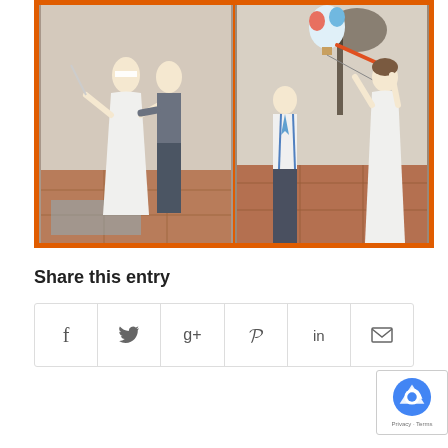[Figure (photo): Two side-by-side wedding photos with an orange border. Left photo shows a bride in a white dress and a groom in gray suit, the bride is blindfolded and holding a stick, playing a game outdoors on a terracotta tile patio. Right photo shows a bride in a fitted white dress swinging a stick at a piñata (colorful hot air balloon shaped), with a groom in white shirt and suspenders watching. Outdoor venue with tree mural in background.]
Share this entry
[Figure (infographic): A row of social sharing buttons: Facebook (f), Twitter (bird), Google+ (g+), Pinterest (P), LinkedIn (in), Email (envelope icon). Followed by a reCAPTCHA badge with Privacy and Terms links.]